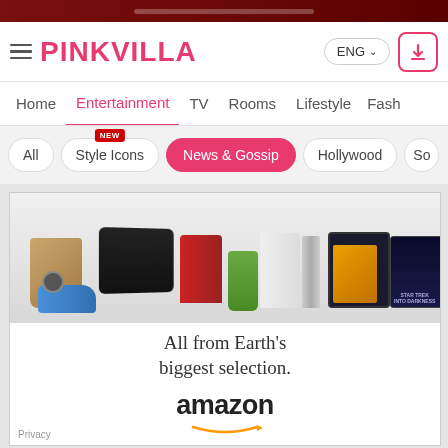[Figure (screenshot): Top red advertisement banner at top of page]
PINKVILLA — ENG — Navigation header
Home | Entertainment | TV | Rooms | Lifestyle | Fash
All | Style Icons (NEW) | News & Gossip | Hollywood | So
[Figure (photo): Amazon advertisement: 'All from Earth's biggest selection.' with amazon logo and product images]
[Figure (infographic): Social sharing icons: WhatsApp (green), Facebook (blue), Twitter (light blue), Chat/more (pink/red)]
[Figure (infographic): Tally app advertisement: 'Fast credit card payoff' with Download Now button]